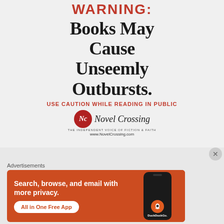[Figure (infographic): Novel Crossing book store warning advertisement: WARNING: Books May Cause Unseemly Outbursts. USE CAUTION WHILE READING IN PUBLIC. Novel Crossing logo with red circle NC monogram and website www.NovelCrossing.com]
Advertisements
[Figure (infographic): DuckDuckGo advertisement: Search, browse, and email with more privacy. All in One Free App. Shows phone mockup with DuckDuckGo icon. Orange/red background.]